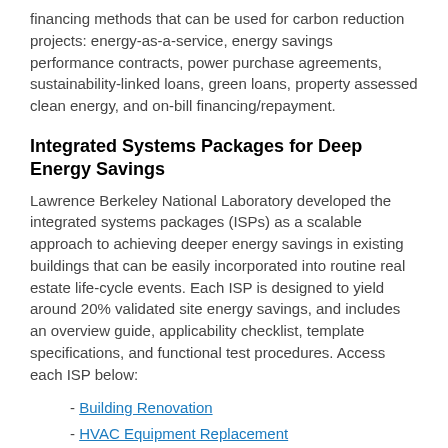financing methods that can be used for carbon reduction projects: energy-as-a-service, energy savings performance contracts, power purchase agreements, sustainability-linked loans, green loans, property assessed clean energy, and on-bill financing/repayment.
Integrated Systems Packages for Deep Energy Savings
Lawrence Berkeley National Laboratory developed the integrated systems packages (ISPs) as a scalable approach to achieving deeper energy savings in existing buildings that can be easily incorporated into routine real estate life-cycle events. Each ISP is designed to yield around 20% validated site energy savings, and includes an overview guide, applicability checklist, template specifications, and functional test procedures. Access each ISP below:
- Building Renovation
- HVAC Equipment Replacement
- Tenant Fit-Out
Better Buildings Residential Network